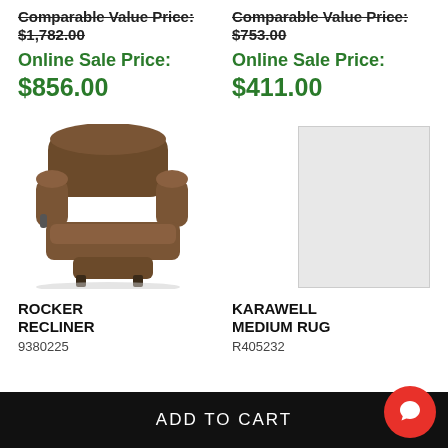Comparable Value Price: $1,782.00
Online Sale Price: $856.00
Comparable Value Price: $753.00
Online Sale Price: $411.00
[Figure (photo): Brown fabric rocker recliner chair]
ROCKER RECLINER
9380225
[Figure (photo): Light gray/white medium area rug]
KARAWELL MEDIUM RUG
R405232
ADD TO CART